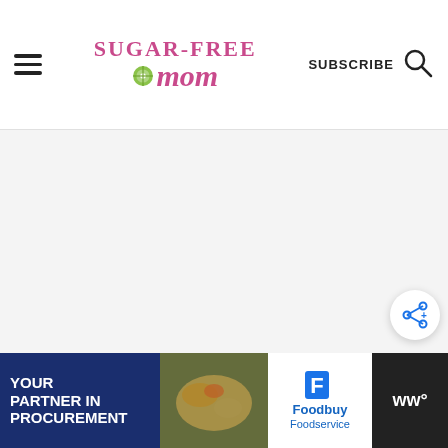Sugar-Free Mom — navigation header with hamburger menu, logo, SUBSCRIBE, and search icon
[Figure (screenshot): Large white/light gray content area placeholder below the header]
[Figure (infographic): Share button (circular white button with share icon) floating on the right side]
[Figure (infographic): Advertisement bar at the bottom: 'YOUR PARTNER IN PROCUREMENT' on dark blue left, food image in center, Foodbuy Foodservice logo on white, and WW logo on dark right]
YOUR PARTNER IN PROCUREMENT
Foodbuy Foodservice